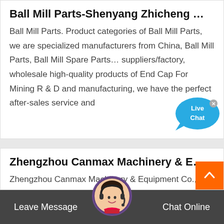Ball Mill Parts-Shenyang Zhicheng …
Ball Mill Parts. Product categories of Ball Mill Parts, we are specialized manufacturers from China, Ball Mill Parts, Ball Mill Spare Parts… suppliers/factory, wholesale high-quality products of End Cap For Mining R & D and manufacturing, we have the perfect after-sales service and
[Figure (other): Live Chat button bubble in blue]
Zhengzhou Canmax Machinery & E…
Zhengzhou Canmax Machinery & Equipment Co., Ltd., Experts in Manufacturing and Exporting Copper Cable Recycling Machine, Double Shaft, Shredder and 5277 more Products.
[Figure (other): Orange scroll-to-top arrow button]
Leave Message   Chat Online